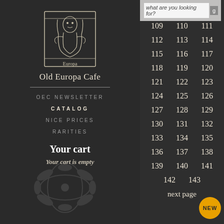[Figure (logo): Old Europa Cafe stylized logo - gothic/art nouveau illustration of a figure]
Old Europa Cafe
OEC NEWSLETTER
CATALOG
NICE PRICES
RARITIES
Your cart
Your cart is empty
what are you looking for?
109 110 111
112 113 114
115 116 117
118 119 120
121 122 123
124 125 126
127 128 129
130 131 132
133 134 135
136 137 138
139 140 141
142 143
next page
[Figure (logo): Golden NEW badge circle in bottom right corner]